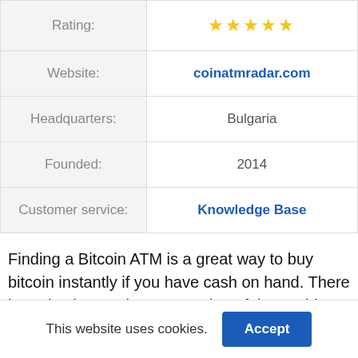| Label | Value |
| --- | --- |
| Rating: | ★★★★★ |
| Website: | coinatmradar.com |
| Headquarters: | Bulgaria |
| Founded: | 2014 |
| Customer service: | Knowledge Base |
Finding a Bitcoin ATM is a great way to buy bitcoin instantly if you have cash on hand. There is a Bitcoin ATM in every region of the world.
Check out the Bitcoin ATM map on Coin ATM
This website uses cookies.